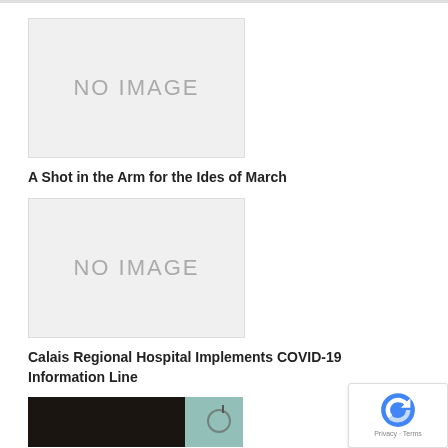[Figure (other): No image placeholder box (light gray background with 'NO IMAGE' text)]
A Shot in the Arm for the Ides of March
[Figure (other): No image placeholder box (light gray background with 'NO IMAGE' text)]
Calais Regional Hospital Implements COVID-19 Information Line
[Figure (photo): Dark photo with teal/cyan overlay rectangle in lower right corner]
[Figure (other): reCAPTCHA widget with logo and Privacy/Terms text]